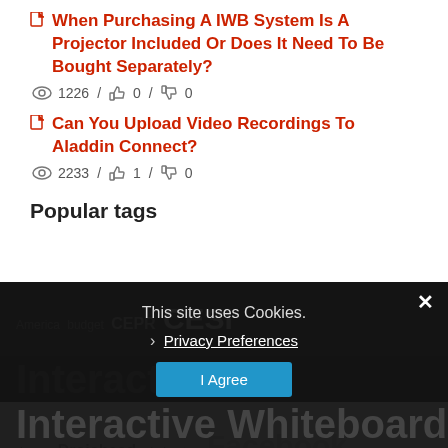When Purchasing A IWB System Is A Projector Included Or Does It Need To Be Bought Separately? — 1226 views / 0 likes / 0 dislikes
Can You Upload Video Recordings To Aladdin Connect? — 2233 views / 1 like / 0 dislikes
Popular tags
This site uses Cookies.
Privacy Preferences
I Agree
America budget CEPR CESI conference drama Droichead eircheatas Facebook Gaeilge Interactive Whiteboards